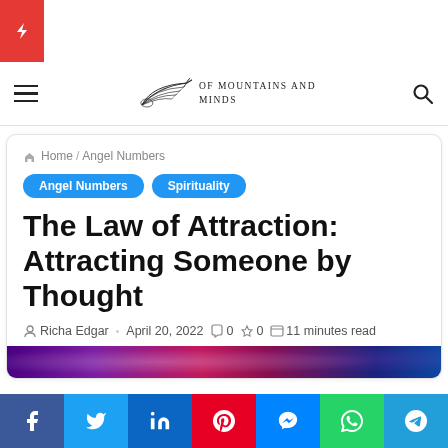⚡ (flash icon)
[Figure (logo): Of Mountains and Minds logo with wing illustration and text]
🏠 Home / Angel Numbers
Angel Numbers
Spirituality
The Law of Attraction: Attracting Someone by Thought
Richa Edgar · April 20, 2022  0  0  11 minutes read
[Figure (photo): Purple and pink galaxy/space background photo preview]
Social share bar: Facebook, Twitter, LinkedIn, Pinterest, Messenger, WhatsApp, Telegram